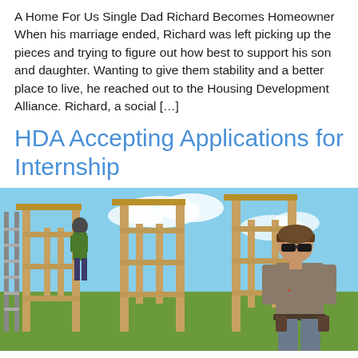A Home For Us Single Dad Richard Becomes Homeowner When his marriage ended, Richard was left picking up the pieces and trying to figure out how best to support his son and daughter. Wanting to give them stability and a better place to live, he reached out to the Housing Development Alliance. Richard, a social […]
HDA Accepting Applications for Internship
[Figure (photo): Construction site photo showing a man in a brown t-shirt and baseball cap walking through a wooden framed house structure under construction, with another worker visible climbing in the background. Blue sky visible through the framing.]